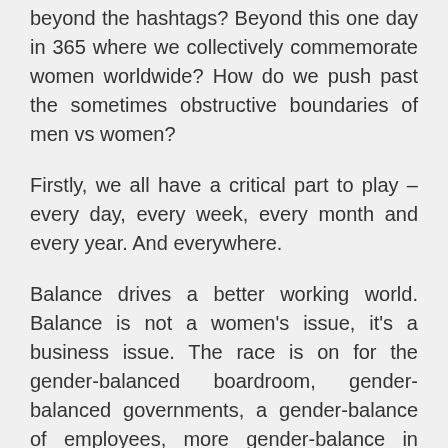beyond the hashtags? Beyond this one day in 365 where we collectively commemorate women worldwide? How do we push past the sometimes obstructive boundaries of men vs women?
Firstly, we all have a critical part to play – every day, every week, every month and every year. And everywhere.
Balance drives a better working world. Balance is not a women's issue, it's a business issue. The race is on for the gender-balanced boardroom, gender-balanced governments, a gender-balance of employees, more gender-balance in wealth and gender-balanced sports coverage.
Wherever I travel, I find myself engaging with